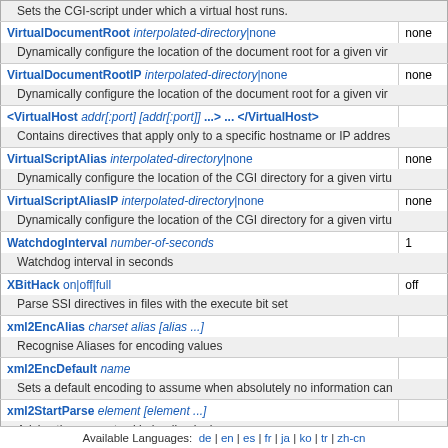| Directive | Default |
| --- | --- |
| VirtualDocumentRoot interpolated-directory|none | none |
| Dynamically configure the location of the document root for a given vir… |  |
| VirtualDocumentRootIP interpolated-directory|none | none |
| Dynamically configure the location of the document root for a given vir… |  |
| <VirtualHost addr[:port] [addr[:port]] ...> ... </VirtualHost> |  |
| Contains directives that apply only to a specific hostname or IP addres… |  |
| VirtualScriptAlias interpolated-directory|none | none |
| Dynamically configure the location of the CGI directory for a given virt… |  |
| VirtualScriptAliasIP interpolated-directory|none | none |
| Dynamically configure the location of the CGI directory for a given virtu… |  |
| WatchdogInterval number-of-seconds | 1 |
| Watchdog interval in seconds |  |
| XBitHack on|off|full | off |
| Parse SSI directives in files with the execute bit set |  |
| xml2EncAlias charset alias [alias ...] |  |
| Recognise Aliases for encoding values |  |
| xml2EncDefault name |  |
| Sets a default encoding to assume when absolutely no information can… |  |
| xml2StartParse element [element ...] |  |
| Advise the parser to skip leading junk. |  |
Available Languages: de | en | es | fr | ja | ko | tr | zh-cn